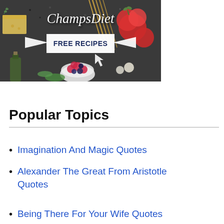[Figure (illustration): ChampsDiet banner image showing food items (cheese, tomatoes, pasta, berries, herbs, olive oil) on a dark background with 'ChampsDiet' text in white italic script, two white arrow icons pointing to a white button labeled 'FREE RECIPES' in dark navy bold text, and a cursor arrow icon below.]
Popular Topics
Imagination And Magic Quotes
Alexander The Great From Aristotle Quotes
Being There For Your Wife Quotes